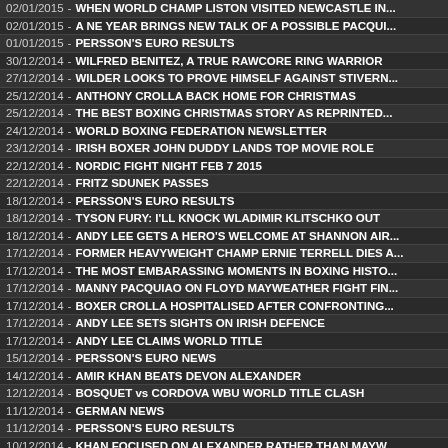02/01/2015 - WHEN WORLD CHAMP LISTON VISITED NEWCASTLE IN...
02/01/2015 - A NE YEAR BRINGS NEW TALK OF A POSSIBLE PACQUI...
01/01/2015 - PERSSON'S EURO RESULTS
30/12/2014 - WILFRED BENITEZ, A TRUE RAWCORE RING WARRIOR
27/12/2014 - WILDER LOOKS TO PROVE HIMSELF AGAINST STIVERN...
25/12/2014 - ANTHONY CROLLA BACK HOME FOR CHRISTMAS
25/12/2014 - THE BEST BOXING CHRISTMAS STORY AS REPRINTED...
24/12/2014 - WORLD BOXING FEDERATION NEWSLETTER
23/12/2014 - IRISH BOXER JOHN DUDDY LANDS TOP MOVIE ROLE
22/12/2014 - NORDIC FIGHT NIGHT FEB 7 2015
22/12/2014 - FRITZ SDUNEK PASSES
18/12/2014 - PERSSON'S EURO RESULTS
18/12/2014 - TYSON FURY: I'LL KNOCK WLADIMIR KLITSCHKO OUT
18/12/2014 - ANDY LEE GETS A HERO'S WELCOME AT SHANNON AIR...
17/12/2014 - FORMER HEAVYWEIGHT CHAMP ERNIE TERRELL DIES A...
17/12/2014 - THE MOST EMBARASSING MOMENTS IN BOXING HISTO...
17/12/2014 - MANNY PACQUIAO ON FLOYD MAYWEATHER FIGHT FIN...
17/12/2014 - BOXER CROLLA HOSPITALISED AFTER CONFRONTING...
17/12/2014 - ANDY LEE SETS SIGHTS ON IRISH DEFENCE
17/12/2014 - ANDY LEE CLAIMS WORLD TITLE
15/12/2014 - PERSSON'S EURO NEWS
14/12/2014 - AMIR KHAN BEATS DEVON ALEXANDER
12/12/2014 - BOSQUET vs CORDOVA WBU WORLD TITLE CLASH
11/12/2014 - GERMAN NEWS
11/12/2014 - PERSSON'S EURO RESULTS
10/12/2014 - KHAN FOCUSED ON ALEXANDER RATHER THAN MAYW...
09/12/2014 - BELFAST BOXER ANTHONY CACACE IS LOOKING AHEA...